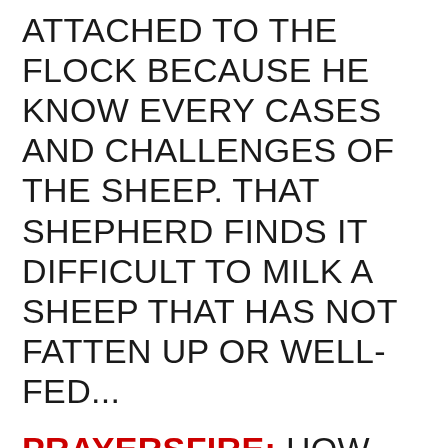ATTACHED TO THE FLOCK BECAUSE HE KNOW EVERY CASES AND CHALLENGES OF THE SHEEP. THAT SHEPHERD FINDS IT DIFFICULT TO MILK A SHEEP THAT HAS NOT FATTEN UP OR WELL-FED...
PRAYERSFIRE: HOW WOULD I COLLECT ANY CENT FROM AN UNEMPLOYED WOMAN FACING MULTIPLE CHALLENGES THAT WE PRAY TOGETHER TO SOLVE?